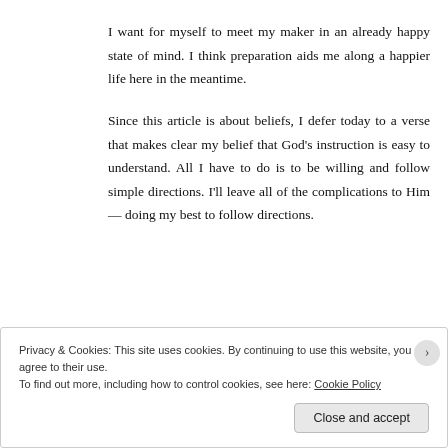I want for myself to meet my maker in an already happy state of mind. I think preparation aids me along a happier life here in the meantime.
Since this article is about beliefs, I defer today to a verse that makes clear my belief that God's instruction is easy to understand. All I have to do is to be willing and follow simple directions. I'll leave all of the complications to Him — doing my best to follow directions.
Privacy & Cookies: This site uses cookies. By continuing to use this website, you agree to their use.
To find out more, including how to control cookies, see here: Cookie Policy
Close and accept